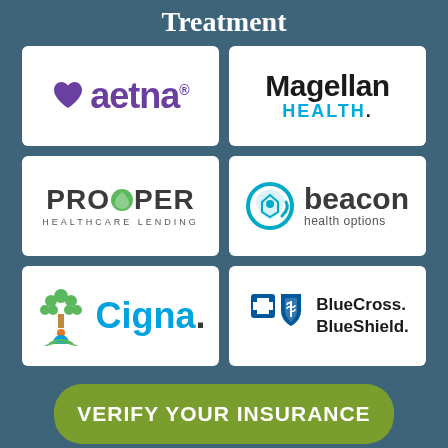Treatment
[Figure (logo): Aetna insurance logo with purple heart and purple text]
[Figure (logo): Magellan Health logo in black and blue]
[Figure (logo): Prosper Healthcare Lending logo]
[Figure (logo): Beacon Health Options logo with teal circle icon]
[Figure (logo): Cigna logo with tree icon in green and blue]
[Figure (logo): BlueCross BlueShield logo with blue cross and shield icons]
VERIFY YOUR INSURANCE